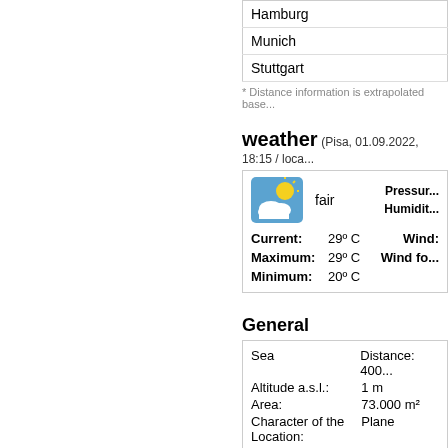| Hamburg |
| Munich |
| Stuttgart |
* Distance information is extrapolated base...
weather (Pisa, 01.09.2022, 18:15 / loca...)
| [icon: fair weather] | fair | Pressur... |
|  |  | Humidit... |
| Current: | 29º C | Wind: |
| Maximum: | 29º C | Wind fo... |
| Minimum: | 20º C |  |
General
| Sea | Distance: 400... |
| Altitude a.s.l.: | 1 m |
| Area: | 73.000 m² |
| Character of the Location: | Plane |
| Payment | Mastercard |
|  | Visa Card |